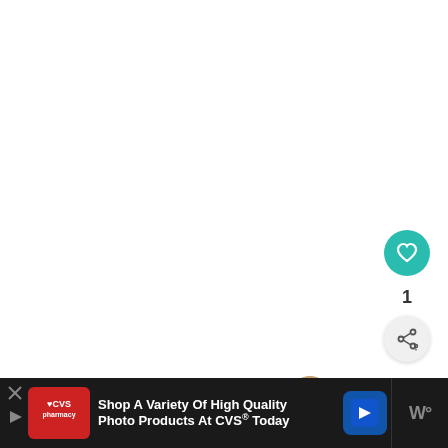[Figure (screenshot): White blank content area taking up most of the page, with UI overlay elements: a teal heart/like button, a like count of 1, a share button, and a 'What's Next' panel showing a rabbit-related article thumbnail and title 'How Do Rabbits...']
To protect or to d
[Figure (screenshot): CVS Pharmacy advertisement bar at the bottom: red CVS logo box, text 'Shop A Variety Of High Quality Photo Products At CVS® Today', blue directional arrow button, and dark right panel with 'W°' text. Has a close X button at top left.]